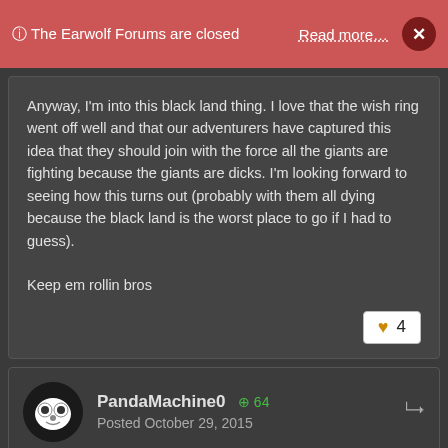ⓘ The Earwolf Forums are closed  Read more…  ×
Anyway, I'm into this black land thing. I love that the wish ring went off well and that our adventurers have captured this idea that they should join with the force all the giants are fighting because the giants are dicks. I'm looking forward to seeing how this turns out (probably with them all dying because the black land is the worst place to go if I had to guess).
Keep em rollin bros
♥ 4
PandaMachine0  ⊕ 64
Posted October 29, 2015
Winter's total elation with the fact that he was flying made me smile. It is fun to know that in addition to arsonist and phallic